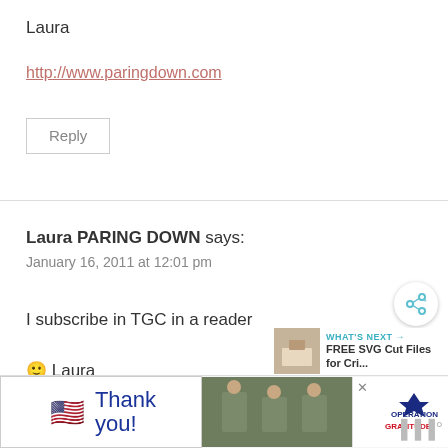Laura
http://www.paringdown.com
Reply
Laura PARING DOWN says:
January 16, 2011 at 12:01 pm
I subscribe in TGC in a reader
🙂 Laura
[Figure (screenshot): Advertisement banner with thank you military message and Operation Gratitude logo]